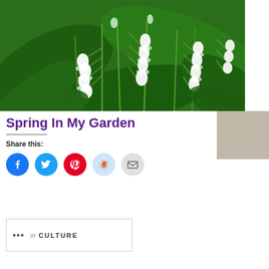[Figure (photo): Close-up photograph of lily of the valley flowers — white bell-shaped blooms on green stems surrounded by large green leaves]
Spring In My Garden
Share this:
... in CULTURE